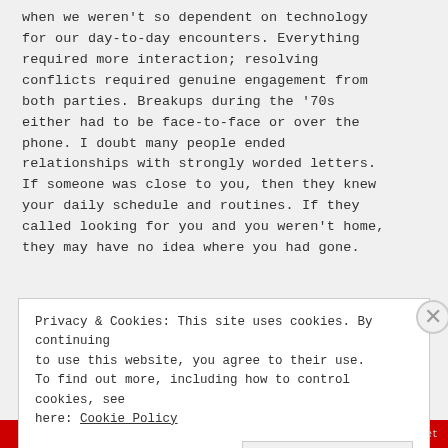when we weren't so dependent on technology for our day-to-day encounters. Everything required more interaction; resolving conflicts required genuine engagement from both parties. Breakups during the '70s either had to be face-to-face or over the phone. I doubt many people ended relationships with strongly worded letters. If someone was close to you, then they knew your daily schedule and routines. If they called looking for you and you weren't home, they may have no idea where you had gone.
Privacy & Cookies: This site uses cookies. By continuing to use this website, you agree to their use. To find out more, including how to control cookies, see here: Cookie Policy
Close and accept